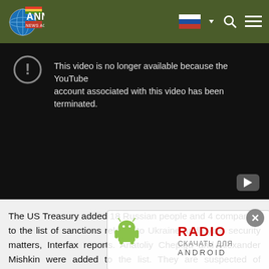ANNA NEWS AGENCY
[Figure (screenshot): YouTube video unavailable screen with message: 'This video is no longer available because the YouTube account associated with this video has been terminated.']
The US Treasury added 18 Russian people and 4 companies to the list of sanctions related to Ukraine and cyber security matters, Interfax reports. Anatoliy Chepiga and Alexander Mishkin were added to the list. They are suspected of attempted poisoning of the ex-employee of the GRU, Sergey Skripal and his daughter Yulia, in Salisbury. The list